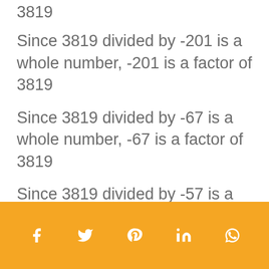3819
Since 3819 divided by -201 is a whole number, -201 is a factor of 3819
Since 3819 divided by -67 is a whole number, -67 is a factor of 3819
Since 3819 divided by -57 is a whole number, -57 is a factor of 3819
Since 3819 divided by -19 is a whole number, -19 is a factor of
Social share icons: Facebook, Twitter, Pinterest, LinkedIn, WhatsApp